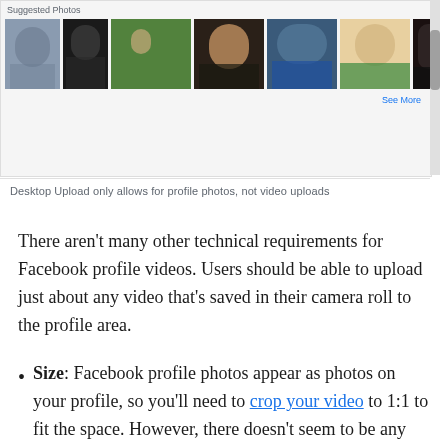[Figure (screenshot): Facebook UI screenshot showing 'Suggested Photos' section with a row of profile photo thumbnails and a 'See More' link, with a vertical scrollbar on the right.]
Desktop Upload only allows for profile photos, not video uploads
There aren't many other technical requirements for Facebook profile videos. Users should be able to upload just about any video that's saved in their camera roll to the profile area.
Size: Facebook profile photos appear as photos on your profile, so you'll need to crop your video to 1:1 to fit the space. However, there doesn't seem to be any size requirement for the videos.